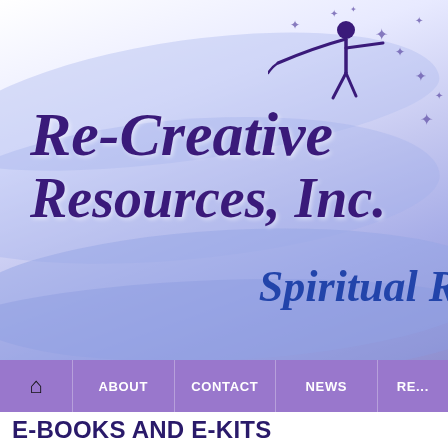[Figure (logo): Re-Creative Resources, Inc. website header banner with purple swoosh waves, star decorations, a stylized dancing figure logo, company name in italic purple script, and 'Spiritual R...' text in blue italic]
HOME  ABOUT  CONTACT  NEWS  RE...
E-BOOKS AND E-KITS